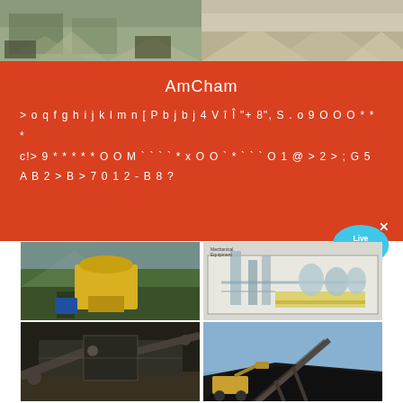[Figure (photo): Two outdoor mining/quarry site photos in a horizontal strip at the top — left shows quarry with dump trucks and piles of aggregate, right shows another aggregate/sand stockpile site.]
AmCham
>oqfghijklmn[Pbjbj4VîÎ"+8",S . o 9 O O O ***
c!>9*****OOM`````xOO`*````O1@>2>;G5
AB2>B>7012-B8?
[Figure (photo): Live Chat speech bubble widget in cyan/blue with white text 'Live Chat' and an X close button, overlaid on the orange section.]
[Figure (photo): Four industrial/mining equipment photos in a 2x2 grid: top-left shows a yellow cone crusher in a mountainous outdoor setting; top-right shows a CAD/3D rendering of industrial processing plant layout; bottom-left shows a mobile crushing/screening plant with conveyor belts; bottom-right shows a large conveyor belt system loading coal or ore onto a dark stockpile outdoors under blue sky.]